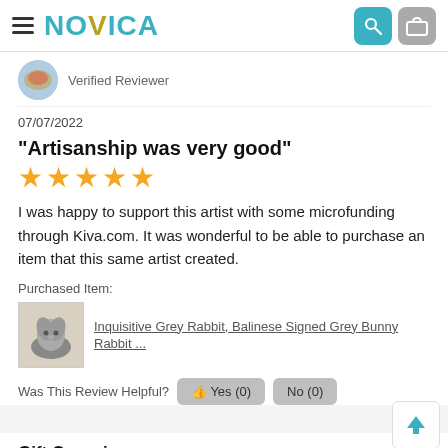NOVICA
Verified Reviewer
07/07/2022
"Artisanship was very good"
★★★★★
I was happy to support this artist with some microfunding through Kiva.com. It was wonderful to be able to purchase an item that this same artist created.
Purchased Item:
[Figure (photo): Small grey rabbit figurine thumbnail]
Inquisitive Grey Rabbit, Balinese Signed Grey Bunny Rabbit ...
Was This Review Helpful? Yes (0) No (0)
Gift Occasion:
This was a gift for: Daughter
Occasion: Easter